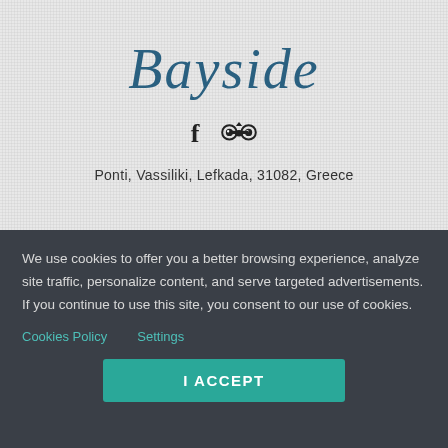Bayside
[Figure (logo): Facebook icon]
[Figure (logo): TripAdvisor owl icon]
Ponti, Vassiliki, Lefkada, 31082, Greece
We use cookies to offer you a better browsing experience, analyze site traffic, personalize content, and serve targeted advertisements. If you continue to use this site, you consent to our use of cookies.
Cookies Policy   Settings
I ACCEPT